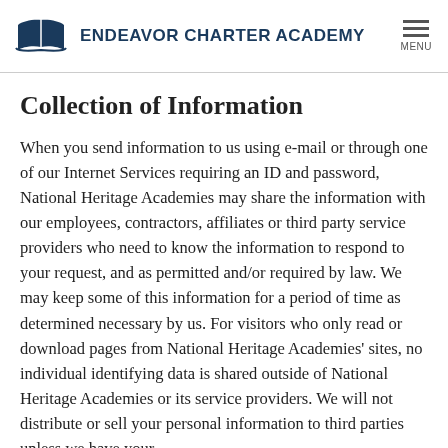ENDEAVOR CHARTER ACADEMY
Collection of Information
When you send information to us using e-mail or through one of our Internet Services requiring an ID and password, National Heritage Academies may share the information with our employees, contractors, affiliates or third party service providers who need to know the information to respond to your request, and as permitted and/or required by law. We may keep some of this information for a period of time as determined necessary by us. For visitors who only read or download pages from National Heritage Academies' sites, no individual identifying data is shared outside of National Heritage Academies or its service providers. We will not distribute or sell your personal information to third parties unless we have your